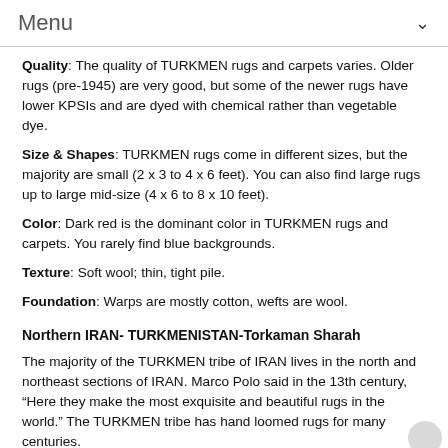Menu
Quality: The quality of TURKMEN rugs and carpets varies. Older rugs (pre-1945) are very good, but some of the newer rugs have lower KPSIs and are dyed with chemical rather than vegetable dye.
Size & Shapes: TURKMEN rugs come in different sizes, but the majority are small (2 x 3 to 4 x 6 feet). You can also find large rugs up to large mid-size (4 x 6 to 8 x 10 feet).
Color: Dark red is the dominant color in TURKMEN rugs and carpets. You rarely find blue backgrounds.
Texture: Soft wool; thin, tight pile.
Foundation: Warps are mostly cotton, wefts are wool.
Northern IRAN- TURKMENISTAN-Torkaman Sharah
The majority of the TURKMEN tribe of IRAN lives in the north and northeast sections of IRAN. Marco Polo said in the 13th century, “Here they make the most exquisite and beautiful rugs in the world.” The TURKMEN tribe has hand loomed rugs for many centuries.
Because it is one of the oldest areas in TURKMENISTAN...